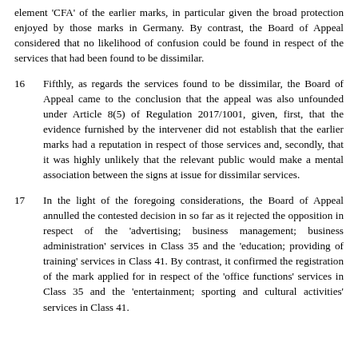element 'CFA' of the earlier marks, in particular given the broad protection enjoyed by those marks in Germany. By contrast, the Board of Appeal considered that no likelihood of confusion could be found in respect of the services that had been found to be dissimilar.
16    Fifthly, as regards the services found to be dissimilar, the Board of Appeal came to the conclusion that the appeal was also unfounded under Article 8(5) of Regulation 2017/1001, given, first, that the evidence furnished by the intervener did not establish that the earlier marks had a reputation in respect of those services and, secondly, that it was highly unlikely that the relevant public would make a mental association between the signs at issue for dissimilar services.
17    In the light of the foregoing considerations, the Board of Appeal annulled the contested decision in so far as it rejected the opposition in respect of the 'advertising; business management; business administration' services in Class 35 and the 'education; providing of training' services in Class 41. By contrast, it confirmed the registration of the mark applied for in respect of the 'office functions' services in Class 35 and the 'entertainment; sporting and cultural activities' services in Class 41.